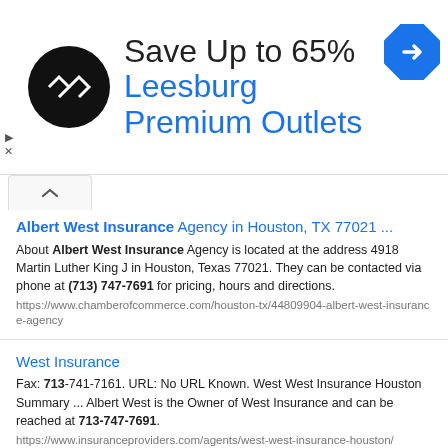[Figure (infographic): Advertisement banner: black circular logo with double-arrow symbol, text 'Save Up to 65%' and 'Leesburg Premium Outlets' in blue, blue diamond navigation icon on the right, small arrow and X ad controls on the left]
Albert West Insurance Agency in Houston, TX 77021 ...
About Albert West Insurance Agency is located at the address 4918 Martin Luther King J in Houston, Texas 77021. They can be contacted via phone at (713) 747-7691 for pricing, hours and directions.
https://www.chamberofcommerce.com/houston-tx/44809904-albert-west-insurance-agency
West Insurance
Fax: 713-741-7161. URL: No URL Known. West West Insurance Houston Summary ... Albert West is the Owner of West Insurance and can be reached at 713-747-7691.
https://www.insuranceproviders.com/agents/west-west-insurance-houston/
Who lives at 14737 PO BOX , 77221, Houston, TX - Hauziz
ALBERT WEST INSURANCE. Insurance. Po Box 14023, Houston, TX (713) 747-7691. 0 ft